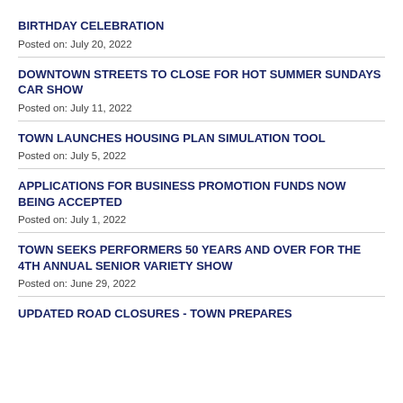BIRTHDAY CELEBRATION
Posted on: July 20, 2022
DOWNTOWN STREETS TO CLOSE FOR HOT SUMMER SUNDAYS CAR SHOW
Posted on: July 11, 2022
TOWN LAUNCHES HOUSING PLAN SIMULATION TOOL
Posted on: July 5, 2022
APPLICATIONS FOR BUSINESS PROMOTION FUNDS NOW BEING ACCEPTED
Posted on: July 1, 2022
TOWN SEEKS PERFORMERS 50 YEARS AND OVER FOR THE 4TH ANNUAL SENIOR VARIETY SHOW
Posted on: June 29, 2022
UPDATED ROAD CLOSURES - TOWN PREPARES